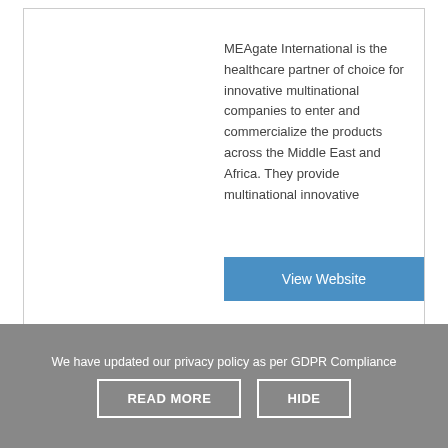MEAgate International is the healthcare partner of choice for innovative multinational companies to enter and commercialize the products across the Middle East and Africa. They provide multinational innovative
View Website
We have updated our privacy policy as per GDPR Compliance
READ MORE
HIDE